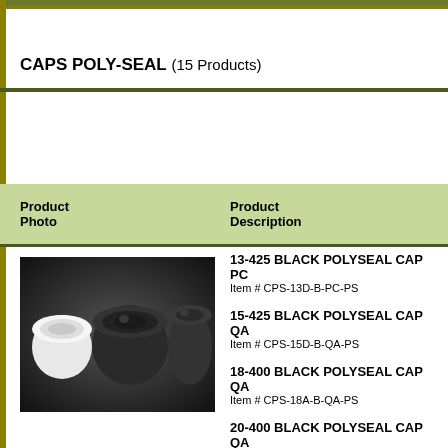CAPS POLY-SEAL (15 Products)
| Product Photo | Product Description |
| --- | --- |
| [image] | 13-425 BLACK POLYSEAL CAP PC
Item # CPS-13D-B-PC-PS |
|  | 15-425 BLACK POLYSEAL CAP QA
Item # CPS-15D-B-QA-PS |
|  | 18-400 BLACK POLYSEAL CAP QA
Item # CPS-18A-B-QA-PS |
|  | 20-400 BLACK POLYSEAL CAP QA
Item # CPS-20A-B-QA-PS |
|  | 20-410 WHITE POLYSEAL CAP QA
Item # CPS-20B-W-QA-PS |
|  | 22-400 BLACK POLYSEAL CAP PC
Item # CPS-22A-B-PC-PS |
|  | 24-400 BLACK POLYSEAL CAP PC
Item # CPS-24A-B-PC-PS |
|  | 24-430 BLACK POLYSEAL CAP PC
Item # (partial) |